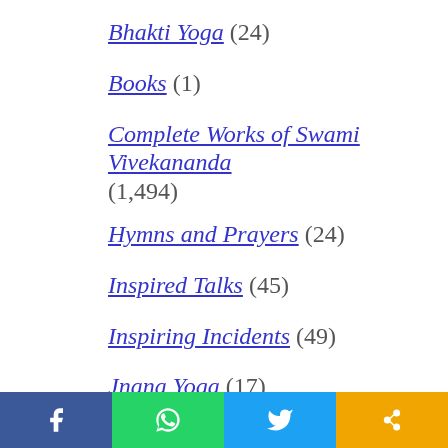Bhakti Yoga (24)
Books (1)
Complete Works of Swami Vivekananda (1,494)
Hymns and Prayers (24)
Inspired Talks (45)
Inspiring Incidents (49)
Jnana Yoga (17)
Karma Yoga (8)